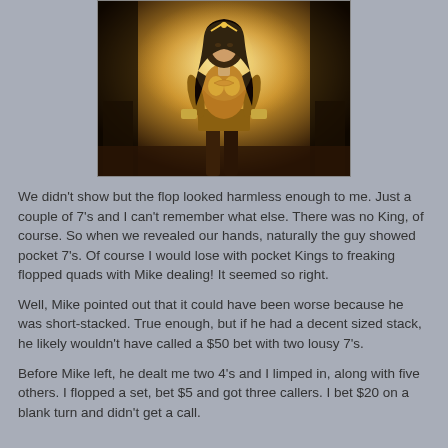[Figure (photo): Photo of a woman in golden Wonder Woman-style armor costume, posed heroically with dramatic golden background lighting]
We didn't show but the flop looked harmless enough to me. Just a couple of 7's and I can't remember what else.  There was no King, of course.  So when we revealed our hands, naturally the guy showed pocket 7's.  Of course I would lose with pocket Kings to freaking flopped quads with Mike dealing!  It seemed so right.
Well, Mike pointed out that it could have been worse because he was short-stacked.  True enough, but if he had a decent sized stack, he likely wouldn't have called a $50 bet with two lousy 7's.
Before Mike left, he dealt me two 4's and I limped in, along with five others.  I flopped a set, bet $5 and got three callers.  I bet $20 on a blank turn and didn't get a call.